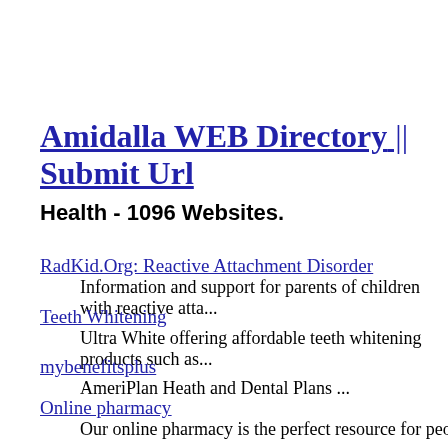Amidalla WEB Directory || Submit Url
Health - 1096 Websites.
RadKid.Org: Reactive Attachment Disorder
Information and support for parents of children with reactive atta...
Teeth Whitening
Ultra White offering affordable teeth whitening products such as...
mybenefitsplus
AmeriPlan Heath and Dental Plans ...
Online pharmacy
Our online pharmacy is the perfect resource for people to ...
Employee Benefit Texas
Diversified Benefit Services specializes in Group Benefits, Emp...